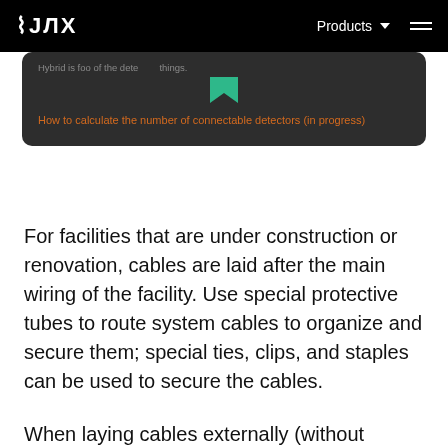AJAX | Products
[Figure (screenshot): Dark card with bookmark icon and orange link text: 'How to calculate the number of connectable detectors (in progress)']
For facilities that are under construction or renovation, cables are laid after the main wiring of the facility. Use special protective tubes to route system cables to organize and secure them; special ties, clips, and staples can be used to secure the cables.
When laying cables externally (without mounting them inside the walls), use an electric channel raceway. Raceways should be no more than half-